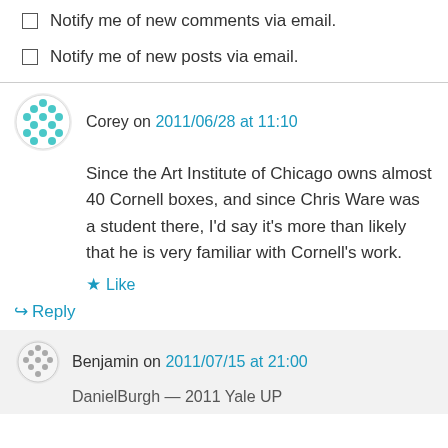Notify me of new comments via email.
Notify me of new posts via email.
Corey on 2011/06/28 at 11:10
Since the Art Institute of Chicago owns almost 40 Cornell boxes, and since Chris Ware was a student there, I'd say it's more than likely that he is very familiar with Cornell's work.
Like
Reply
Benjamin on 2011/07/15 at 21:00